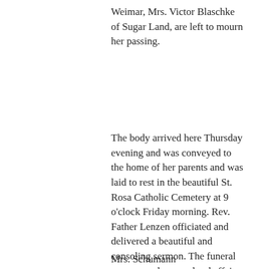Weimar, Mrs. Victor Blaschke of Sugar Land, are left to mourn her passing.
The body arrived here Thursday evening and was conveyed to the home of her parents and was laid to rest in the beautiful St. Rosa Catholic Cemetery at 9 o'clock Friday morning. Rev. Father Lenzen officiated and delivered a beautiful and consoling sermon. The funeral was a very large and sad affair.
Mrs. Schumann